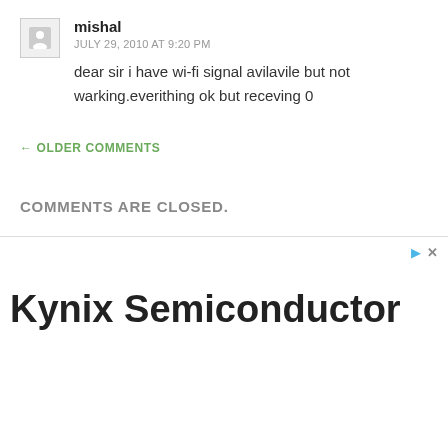mishal
JULY 29, 2010 AT 9:20 PM
dear sir i have wi-fi signal avilavile but not warking.everithing ok but receving 0
← OLDER COMMENTS
COMMENTS ARE CLOSED.
[Figure (other): Advertisement banner with Kynix Semiconductor logo/text and ad controls (play and close icons)]